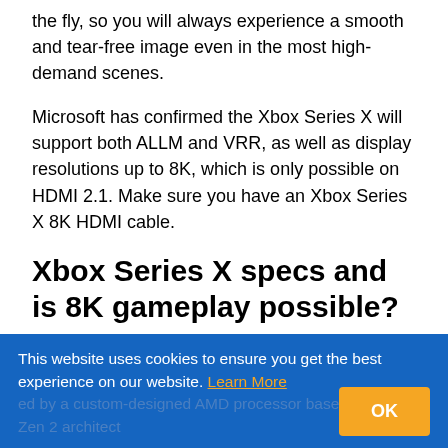the fly, so you will always experience a smooth and tear-free image even in the most high-demand scenes.
Microsoft has confirmed the Xbox Series X will support both ALLM and VRR, as well as display resolutions up to 8K, which is only possible on HDMI 2.1. Make sure you have an Xbox Series X 8K HDMI cable.
Xbox Series X specs and is 8K gameplay possible?
The Xbox Series X features the latest in high-end components, and even resembles a gaming PC in design. Which begs the question: What about Xbox Series X 8K support?
This website uses cookies to ensure you get the best experience on our website. Learn More
ed by a custom-designed AMD processor based on AMD's Zen 2 architect